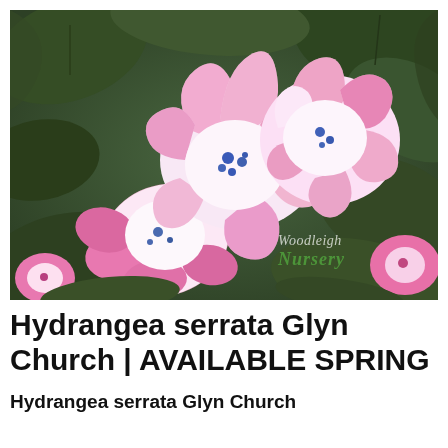[Figure (photo): Close-up photograph of Hydrangea serrata Glyn Church flowers with white and pink petals with blue centers, surrounded by green foliage. Woodleigh Nursery watermark visible in lower right corner.]
Hydrangea serrata Glyn Church | AVAILABLE SPRING
Hydrangea serrata Glyn Church